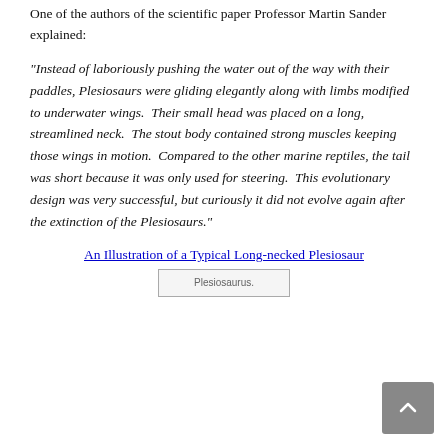One of the authors of the scientific paper Professor Martin Sander explained:
“Instead of laboriously pushing the water out of the way with their paddles, Plesiosaurs were gliding elegantly along with limbs modified to underwater wings. Their small head was placed on a long, streamlined neck. The stout body contained strong muscles keeping those wings in motion. Compared to the other marine reptiles, the tail was short because it was only used for steering. This evolutionary design was very successful, but curiously it did not evolve again after the extinction of the Plesiosaurs.”
An Illustration of a Typical Long-necked Plesiosaur
[Figure (illustration): Image placeholder for Plesiosaurus illustration, shown as broken image icon with alt text 'Plesiosaurus.']